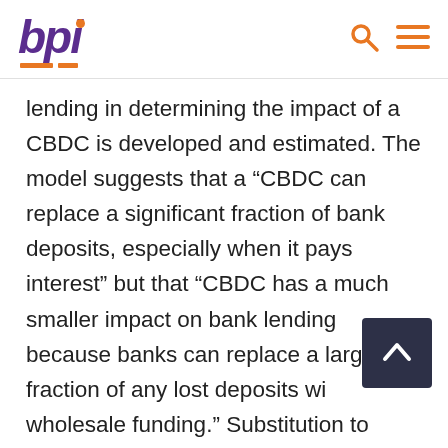bpi
lending in determining the impact of a CBDC is developed and estimated. The model suggests that a “CBDC can replace a significant fraction of bank deposits, especially when it pays interest” but that “CBDC has a much smaller impact on bank lending because banks can replace a large fraction of any lost deposits with wholesale funding.” Substitution to wholesale funding, however, “makes banks’ funding costs more sensitive to